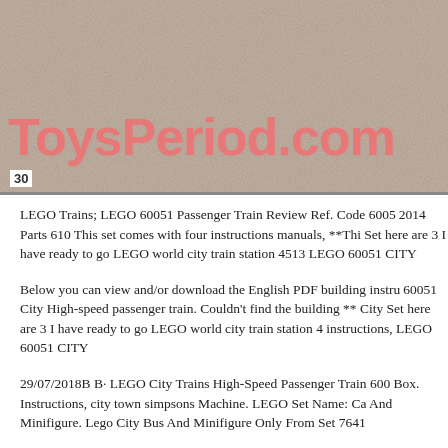[Figure (photo): Banner image with textured stone/gravel background and ToysPeriod.com logo in coral/salmon colored text, with number 30 in bottom left corner]
LEGO Trains; LEGO 60051 Passenger Train Review Ref. Code 600... 2014 Parts 610 This set comes with four instructions manuals, **Thi... Set here are 3 I have ready to go LEGO world city train station 4513... LEGO 60051 CITY
Below you can view and/or download the English PDF building instr... 60051 City High-speed passenger train. Couldn't find the building **... City Set here are 3 I have ready to go LEGO world city train station 4... instructions, LEGO 60051 CITY
29/07/2018B B· LEGO City Trains High-Speed Passenger Train 600... Box. Instructions, city town simpsons Machine. LEGO Set Name: Ca... And Minifigure. Lego City Bus And Minifigure Only From Set 764...